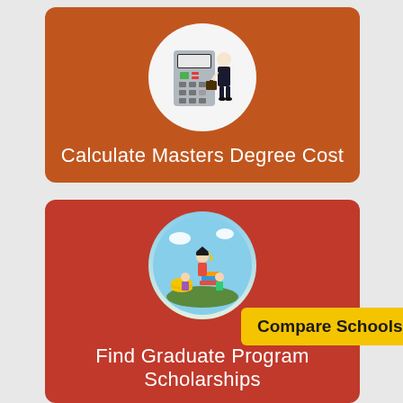[Figure (illustration): Orange card with a circular icon showing a calculator and a businessman figure, with text 'Calculate Masters Degree Cost']
Calculate Masters Degree Cost
[Figure (illustration): Red card with a circular icon showing a graduation cap, coins, and students, with a yellow 'Compare Schools' badge overlapping]
Find Graduate Program Scholarships
Compare Schools